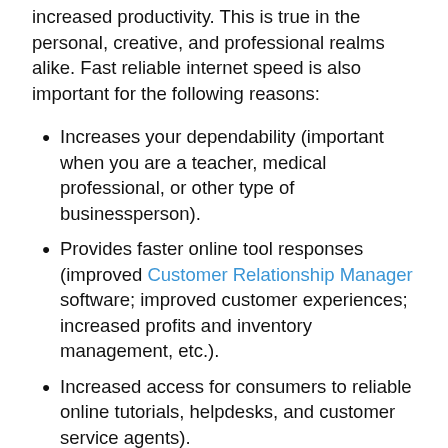increased productivity. This is true in the personal, creative, and professional realms alike. Fast reliable internet speed is also important for the following reasons:
Increases your dependability (important when you are a teacher, medical professional, or other type of businessperson).
Provides faster online tool responses (improved Customer Relationship Manager software; improved customer experiences; increased profits and inventory management, etc.).
Increased access for consumers to reliable online tutorials, helpdesks, and customer service agents).
Increased access to medical appointments